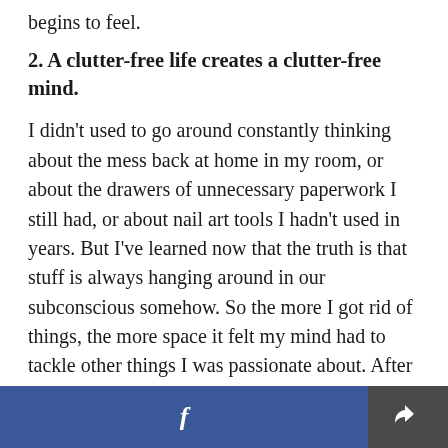begins to feel.
2. A clutter-free life creates a clutter-free mind.
I didn't used to go around constantly thinking about the mess back at home in my room, or about the drawers of unnecessary paperwork I still had, or about nail art tools I hadn't used in years. But I've learned now that the truth is that stuff is always hanging around in our subconscious somehow. So the more I got rid of things, the more space it felt my mind had to tackle other things I was passionate about. After my purge, I found myself more motivated at work, more proactive on going
[Figure (screenshot): Bottom navigation bar with Facebook button (blue) and share/export button (dark grey)]